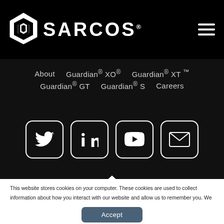SARCOS
About   Guardian® XO®   Guardian® XT™   Guardian® GT   Guardian® S   Careers
[Figure (illustration): Four social media icon buttons in rounded square frames: Twitter bird icon, LinkedIn 'in' icon, YouTube play button icon, and envelope/email icon. All white icons on dark background.]
This website stores cookies on your computer. These cookies are used to collect information about how you interact with our website and allow us to remember you. We use this information in order to improve and customize your browsing experience and for analytics and metrics about our visitors both on this website and other media. To find out more about the cookies we use, see our Privacy Policy.
Accept